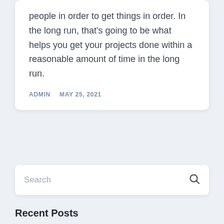people in order to get things in order. In the long run, that's going to be what helps you get your projects done within a reasonable amount of time in the long run.
ADMIN   MAY 25, 2021
Search
Recent Posts